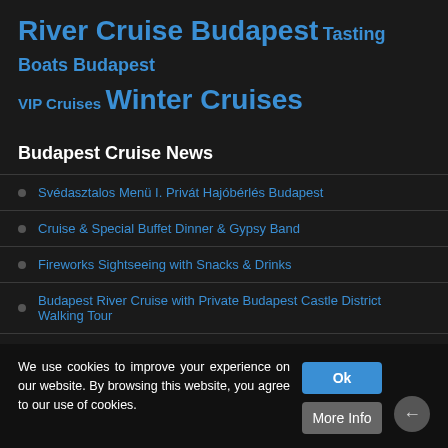River Cruise Budapest Tasting Boats Budapest VIP Cruises Winter Cruises
Budapest Cruise News
Svédasztalos Menü I. Privát Hajóbérlés Budapest
Cruise & Special Buffet Dinner & Gypsy Band
Fireworks Sightseeing with Snacks & Drinks
Budapest River Cruise with Private Budapest Castle District Walking Tour
Budget Value Cruises in Budapest City
search..
We use cookies to improve your experience on our website. By browsing this website, you agree to our use of cookies.